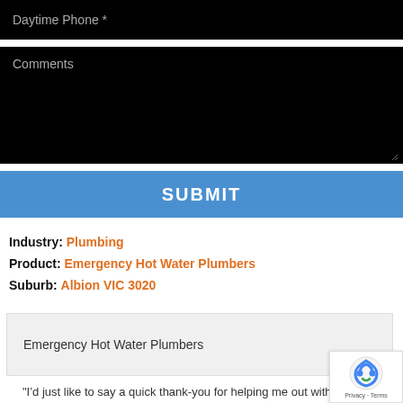[Figure (screenshot): Black input field with placeholder text 'Daytime Phone *']
[Figure (screenshot): Black textarea input field with placeholder text 'Comments']
[Figure (screenshot): Blue submit button with text 'SUBMIT']
Industry: Plumbing
Product: Emergency Hot Water Plumbers
Suburb: Albion VIC 3020
Emergency Hot Water Plumbers
"I’d just like to say a quick thank-you for helping me out with